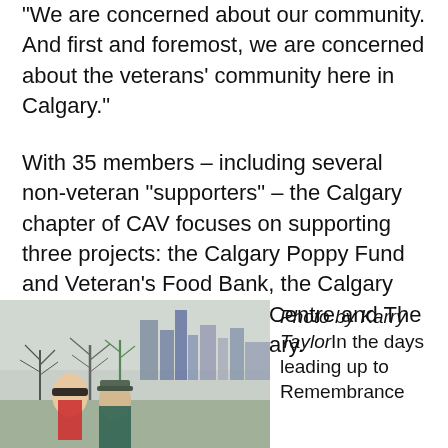“We are concerned about our community. And first and foremost, we are concerned about the veterans’ community here in Calgary.”
With 35 members – including several non-veteran “supporters” – the Calgary chapter of CAV focuses on supporting three projects: the Calgary Poppy Fund and Veteran’s Food Bank, the Calgary Military Family Resource Centre and The Military Museums of Calgary.
[Figure (photo): Two people outdoors with bare winter trees and Calgary city skyline in background]
Photo by Karry TaylorIn the days leading up to Remembrance